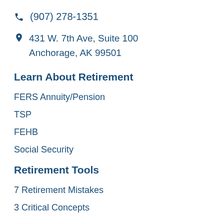(907) 278-1351
431 W. 7th Ave, Suite 100
Anchorage, AK 99501
Learn About Retirement
FERS Annuity/Pension
TSP
FEHB
Social Security
Retirement Tools
7 Retirement Mistakes
3 Critical Concepts